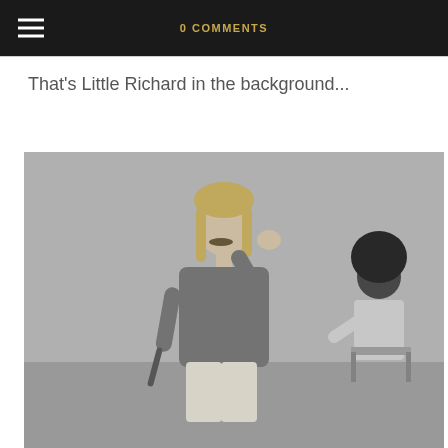0 COMMENTS
That's Little Richard in the background...
[Figure (photo): Black and white photograph of a man with shoulder-length blonde hair and a mustache, wearing a sweater, mid-motion with one arm raised holding something. In the background, another person is seated.]